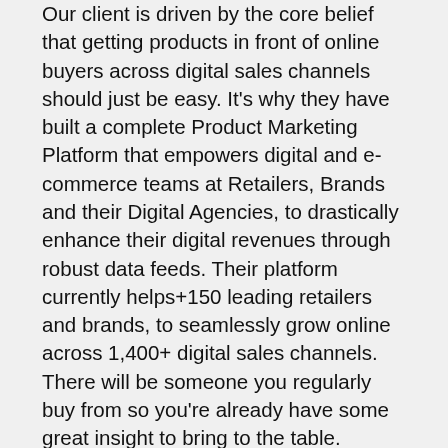Our client is driven by the core belief that getting products in front of online buyers across digital sales channels should just be easy. It's why they have built a complete Product Marketing Platform that empowers digital and e-commerce teams at Retailers, Brands and their Digital Agencies, to drastically enhance their digital revenues through robust data feeds. Their platform currently helps+150 leading retailers and brands, to seamlessly grow online across 1,400+ digital sales channels. There will be someone you regularly buy from so you're already have some great insight to bring to the table.
THE ROLE
You will be responsible for sourcing new leads